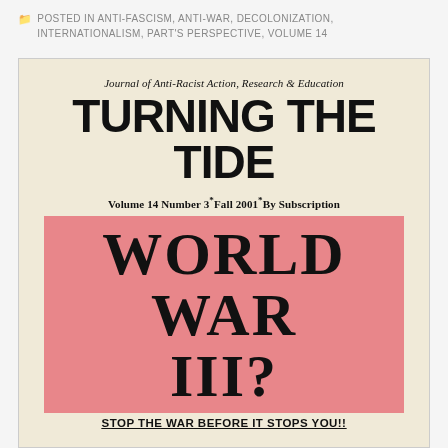POSTED IN ANTI-FASCISM, ANTI-WAR, DECOLONIZATION, INTERNATIONALISM, PART'S PERSPECTIVE, VOLUME 14
[Figure (photo): Scanned cover of 'Turning the Tide: Journal of Anti-Racist Action, Research & Education', Volume 14 Number 3, Fall 2001, By Subscription. Features large headline text 'WORLD WAR III?' on a pink background box, with tagline 'STOP THE WAR BEFORE IT STOPS YOU!!' at the bottom.]